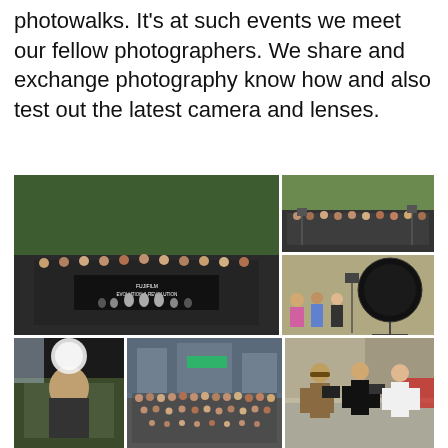photowalks. It's at such events we meet our fellow photographers. We share and exchange photography know how and also test out the latest camera and lenses.
[Figure (photo): Collage of photography community event photos: group photo with banner reading 'FUJIFILM EVOLUTION REVOLUTION', group photo outdoors with camera equipment, softbox lighting setup, vintage car interior with photographer, large group street photo, photographers walking, presentation with projector screen, photographers with studio lighting equipment.]